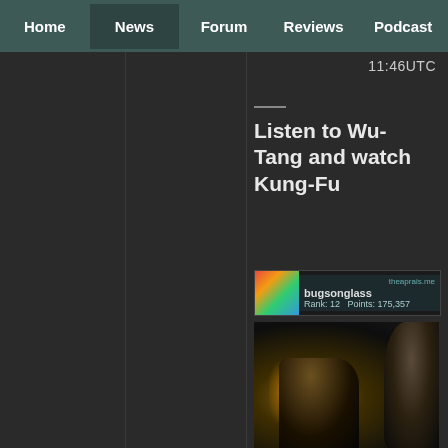Home | News | Forum | Reviews | Podcast
11:46UTC
Listen to Wu-Tang and watch Kung-Fu
[Figure (screenshot): User profile badge for 'bugsonglass' showing Rank: 12 and Points: 175,357 with a colorful avatar and site branding 'theaprais.me']
[Figure (photo): Dark film still showing figures in a dimly lit scene, likely from a Kung-Fu movie, with warm amber/orange lighting on the left side]